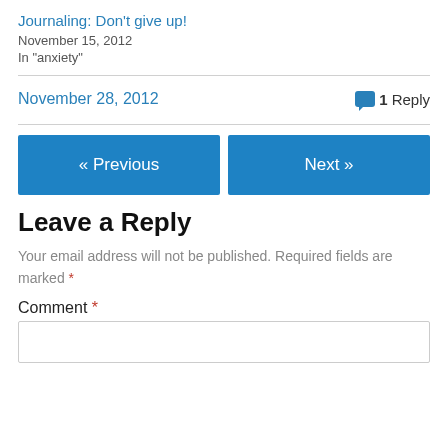Journaling: Don't give up!
November 15, 2012
In "anxiety"
November 28, 2012
1 Reply
« Previous
Next »
Leave a Reply
Your email address will not be published. Required fields are marked *
Comment *